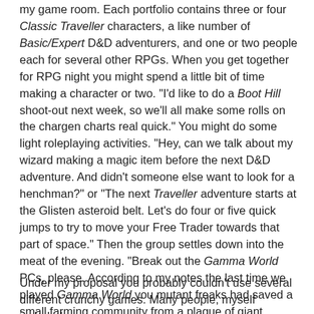my game room. Each portfolio contains three or four Classic Traveller characters, a like number of Basic/Expert D&D adventurers, and one or two people each for several other RPGs. When you get together for RPG night you might spend a little bit of time making a character or two. "I'd like to do a Boot Hill shoot-out next week, so we'll all make some rolls on the chargen charts real quick." You might do some light roleplaying activities. "Hey, can we talk about my wizard making a magic item before the next D&D adventure. And didn't someone else want to look for a henchman?" or "The next Traveller adventure starts at the Glisten asteroid belt. Let's do four or five quick jumps to try to move your Free Trader towards that part of space." Then the group settles down into the meat of the evening. "Break out the Gamma World PCs, please. According to my notes the last time we played Gamma World you mutant freaks had saved a small farming community from a plague of giant radiated beetles. This adventure begins as you are being feted by Baron Ironeyes, the cyborg lord of the region."
Under my proposal you probably couldn't use several different crunchy games. Many people, myself included,